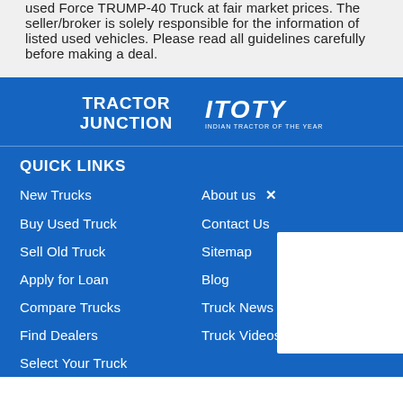TractorJunction. Our online platform helps you to easily buy used Force TRUMP-40 Truck at fair market prices. The seller/broker is solely responsible for the information of listed used vehicles. Please read all guidelines carefully before making a deal.
[Figure (logo): Tractor Junction logo and ITOTY (Indian Tractor of the Year) logo on blue background]
QUICK LINKS
New Trucks
About us
Buy Used Truck
Contact Us
Sell Old Truck
Sitemap
Apply for Loan
Blog
Compare Trucks
Truck News
Find Dealers
Truck Videos
Select Your Truck